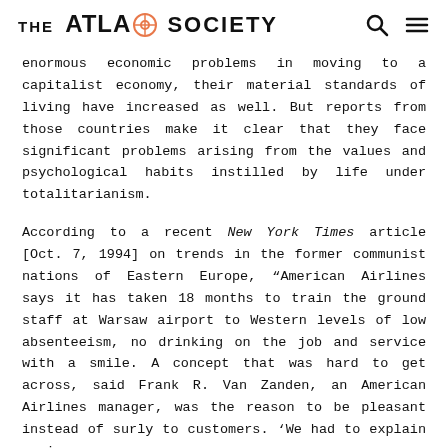THE ATLAS SOCIETY
enormous economic problems in moving to a capitalist economy, their material standards of living have increased as well. But reports from those countries make it clear that they face significant problems arising from the values and psychological habits instilled by life under totalitarianism.
According to a recent New York Times article [Oct. 7, 1994] on trends in the former communist nations of Eastern Europe, “American Airlines says it has taken 18 months to train the ground staff at Warsaw airport to Western levels of low absenteeism, no drinking on the job and service with a smile. A concept that was hard to get across, said Frank R. Van Zanden, an American Airlines manager, was the reason to be pleasant instead of surly to customers. ‘We had to explain again